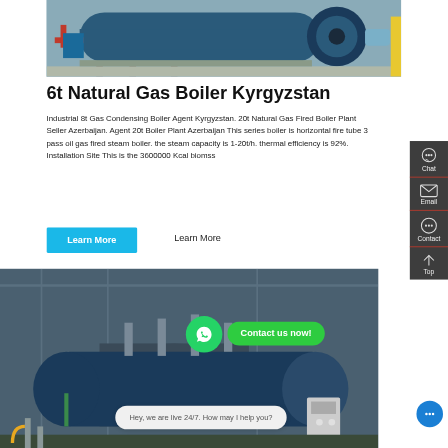[Figure (photo): Industrial gas boiler equipment in a facility — blue horizontal boiler with piping and fan motor]
6t Natural Gas Boiler Kyrgyzstan
Industrial 8t Gas Condensing Boiler Agent Kyrgyzstan. 20t Natural Gas Fired Boiler Plant Seller Azerbaijan. Agent 20t Boiler Plant Azerbaijan This series boiler is horizontal fire tube 3 pass oil gas fired steam boiler. the steam capacity is 1-20t/h. thermal efficiency is 92%. Installation Site This is the 3600000 Kcal biomss Learn More
Learn More
[Figure (photo): Industrial boiler installation in a large factory hall with piping and control panels]
Contact us now!
Hey, we are live 24/7. How may I help you?